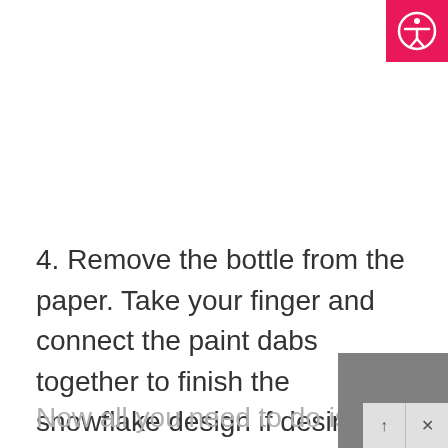[Figure (logo): Accessibility icon: white person with arms out in a circle on a pink/red square background, top right corner]
4. Remove the bottle from the paper. Take your finger and connect the paint dabs together to finish the snowflake design if desired.
Now all you need to do is allow your